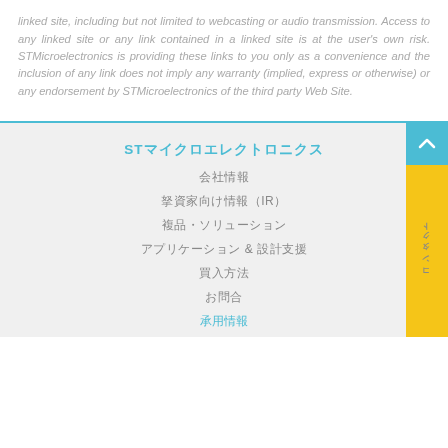linked site, including but not limited to webcasting or audio transmission. Access to any linked site or any link contained in a linked site is at the user's own risk. STMicroelectronics is providing these links to you only as a convenience and the inclusion of any link does not imply any warranty (implied, express or otherwise) or any endorsement by STMicroelectronics of the third party Web Site.
STMicroelectronics
会社情報
投資家向け情報（IR）
製品・ソリューション
アプリケーション & 設計支援
購入方法
お問合
採用情報